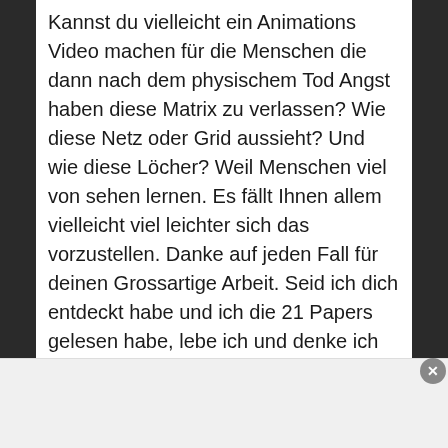Kannst du vielleicht ein Animations Video machen für die Menschen die dann nach dem physischem Tod Angst haben diese Matrix zu verlassen? Wie diese Netz oder Grid aussieht? Und wie diese Löcher? Weil Menschen viel von sehen lernen. Es fällt Ihnen allem vielleicht viel leichter sich das vorzustellen. Danke auf jeden Fall für deinen Grossartige Arbeit. Seid ich dich entdeckt habe und ich die 21 Papers gelesen habe, lebe ich und denke ich nur sowie hier wie du. Danke Danke Danke ❤️❤️❤️
Advertisements
[Figure (other): WordPress.com advertisement banner with logo and 'Build Your Website' button on dark blue background]